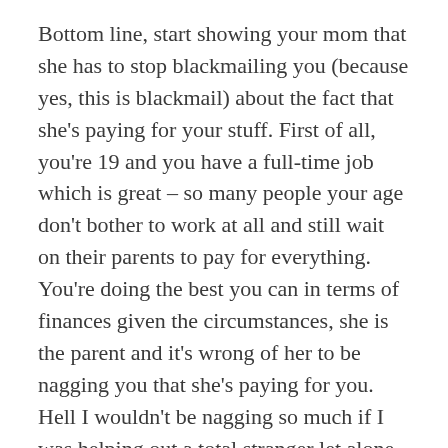Bottom line, start showing your mom that she has to stop blackmailing you (because yes, this is blackmail) about the fact that she's paying for your stuff. First of all, you're 19 and you have a full-time job which is great – so many people your age don't bother to work at all and still wait on their parents to pay for everything. You're doing the best you can in terms of finances given the circumstances, she is the parent and it's wrong of her to be nagging you that she's paying for you. Hell I wouldn't be nagging so much if I was helping out a total stranger let alone my own child. Look up things on Google on how to confront controlling parents because don't imagine that this will finish well. About the guy, start getting to know him all over again is my suggestion, people do change a lot in 5 years' time. Go out for coffee and stuff and see what his like. If the spark is still there, live it. But I would confront your